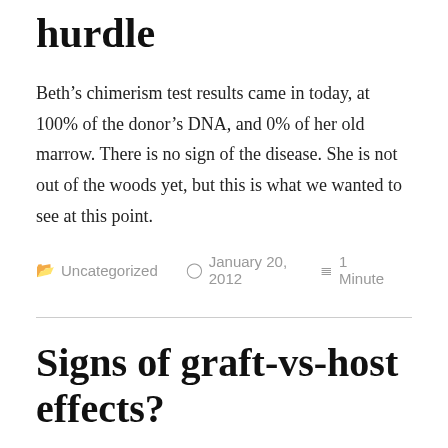hurdle
Beth’s chimerism test results came in today, at 100% of the donor’s DNA, and 0% of her old marrow. There is no sign of the disease. She is not out of the woods yet, but this is what we wanted to see at this point.
Uncategorized   January 20, 2012   1 Minute
Signs of graft-vs-host effects?